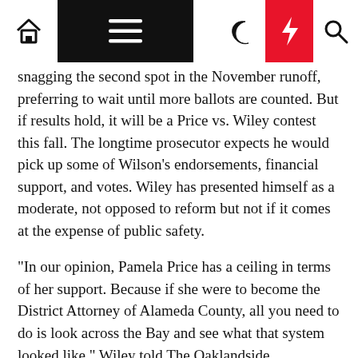[Navigation bar with home, menu, moon, lightning, search icons]
snagging the second spot in the November runoff, preferring to wait until more ballots are counted. But if results hold, it will be a Price vs. Wiley contest this fall. The longtime prosecutor expects he would pick up some of Wilson's endorsements, financial support, and votes. Wiley has presented himself as a moderate, not opposed to reform but not if it comes at the expense of public safety.
"In our opinion, Pamela Price has a ceiling in terms of her support. Because if she were to become the District Attorney of Alameda County, all you need to do is look across the Bay and see what that system looked like," Wiley told The Oaklandside Wednesday.
Jail controversies, including